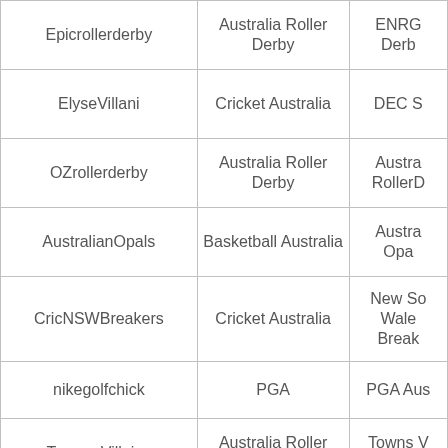| Username | Sport/Category | Account Name |
| --- | --- | --- |
| Epicrollerderby | Australia Roller Derby | ENRG … Derb… |
| ElyseVillani | Cricket Australia | DEC S… |
| OZrollerderby | Australia Roller Derby | Austra… RollerD… |
| AustralianOpals | Basketball Australia | Austra… Opa… |
| CricNSWBreakers | Cricket Australia | New So… Wale… Break… |
| nikegolfchick | PGA | PGA Aus… |
| Towns_Villains | Australia Roller Derby | Towns V… Roller D… |
| RikkiSwannell | General New Zealand sport | General… Zealand… |
| SWSRockets | Australia Roller Derby | SWS Ro… |